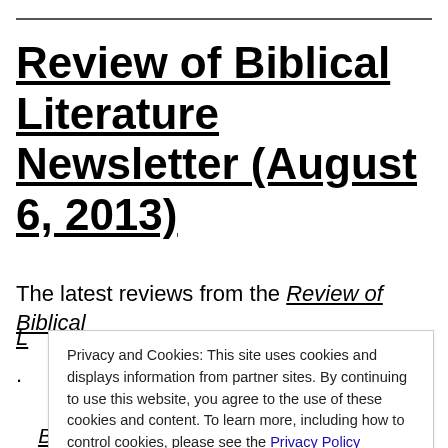Review of Biblical Literature Newsletter (August 6, 2013)
The latest reviews from the Review of Biblical
Privacy and Cookies: This site uses cookies and displays information from partner sites. By continuing to use this website, you agree to the use of these cookies and content. To learn more, including how to control cookies, please see the Privacy Policy
Close and accept
Bilderverbot und Bildtheologie des Alten